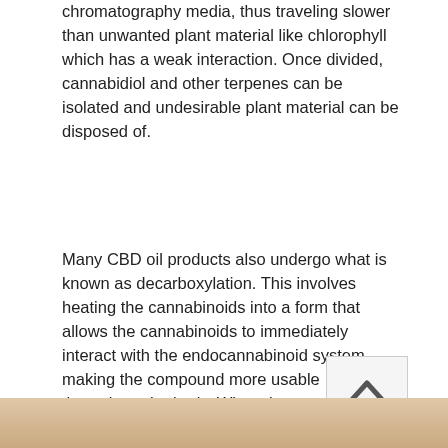chromatography media, thus traveling slower than unwanted plant material like chlorophyll which has a weak interaction. Once divided, cannabidiol and other terpenes can be isolated and undesirable plant material can be disposed of.
Many CBD oil products also undergo what is known as decarboxylation. This involves heating the cannabinoids into a form that allows the cannabinoids to immediately interact with the endocannabinoid system making the compound more usable throughout the body. When the extracted oil is decarboxylated it is converted from CBDA to CBD, thus removing the acid form so it's readily bioavailable. Once decarboxylated, the oil can be consumed directly, however it may not have a favorable taste. Instead, this oil can be mixed with a carrying oil such as hemp seed or coconut oil, turned into capsules, or hardened into an isolate form for consumer use.
[Figure (photo): Bottom strip of an image, appears to show a person's hand or skin, warm skin tones visible at bottom of page]